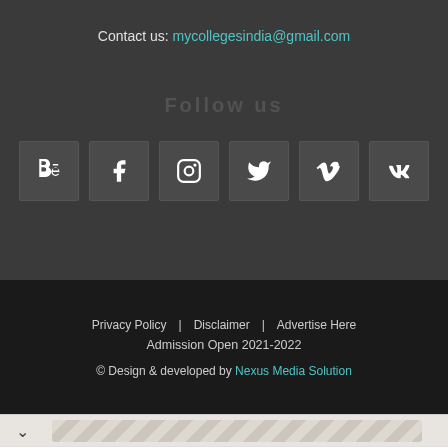Contact us: mycollegesindia@gmail.com
Follow us
[Figure (other): Social media icons row: Behance, Facebook, Instagram, Twitter, Vimeo, VK]
Privacy Policy   Disclaimer   Advertise Here
Admission Open 2021-2022
© Design & developed by Nexus Media Solution
[Figure (other): Advertisement banner with chevron collapse button]
[Figure (other): Leibish jewelry advertisement showing earrings and rings with prices: $18,832, $202,244, $118,482, $28,500, $20,009]